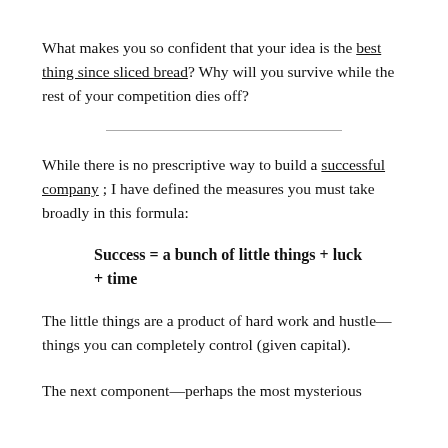What makes you so confident that your idea is the best thing since sliced bread? Why will you survive while the rest of your competition dies off?
While there is no prescriptive way to build a successful company; I have defined the measures you must take broadly in this formula:
The little things are a product of hard work and hustle—things you can completely control (given capital).
The next component—perhaps the most mysterious